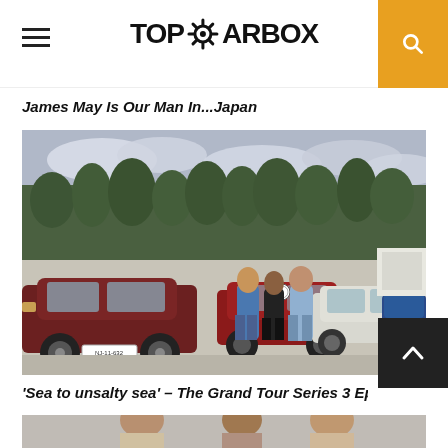TopGearbox
James May Is Our Man In...Japan
[Figure (photo): Three men standing in a car park with several cars including an old dark red Renault, red BMW, white Ford, and blue car. Trees and cloudy sky in background.]
'Sea to unsalty sea' – The Grand Tour Series 3 Episode 11 Prev…
[Figure (photo): Partial view of next article image showing people, cropped at bottom of page.]